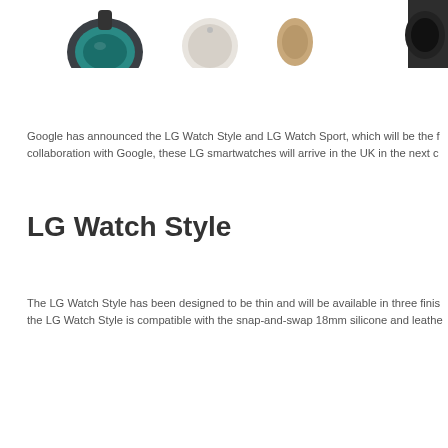[Figure (photo): Product photo showing multiple LG smartwatches and accessories including a dark teal round watch, a light/beige earphone, a tan piece, and a partial dark watch on the right edge, shown from above on a white background.]
Google has announced the LG Watch Style and LG Watch Sport, which will be the f… collaboration with Google, these LG smartwatches will arrive in the UK in the next c…
LG Watch Style
The LG Watch Style has been designed to be thin and will be available in three finis… the LG Watch Style is compatible with the snap-and-swap 18mm silicone and leathe…